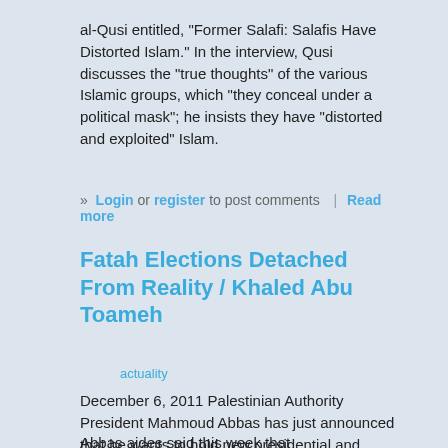al-Qusi entitled, "Former Salafi: Salafis Have Distorted Islam." In the interview, Qusi discusses the "true thoughts" of the various Islamic groups, which "they conceal under a political mask"; he insists they have "distorted and exploited" Islam.
» Login or register to post comments | Read more
Fatah Elections Detached From Reality / Khaled Abu Toameh
actuality
December 6, 2011 Palestinian Authority President Mahmoud Abbas has just announced that he wants to hold new presidential and parliamentary elections in May 2012.
Abbas aides said this week that